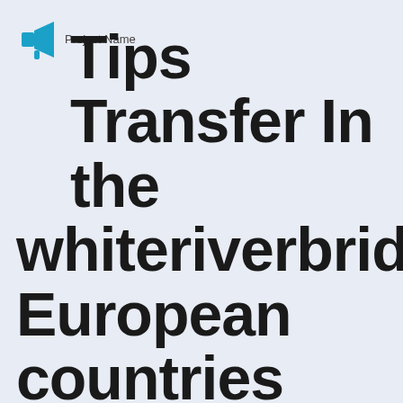[Figure (logo): Blue megaphone/speaker icon logo with small text 'Project Name' beside it]
Tips Transfer In the whiteriverbridge European countries On a budget